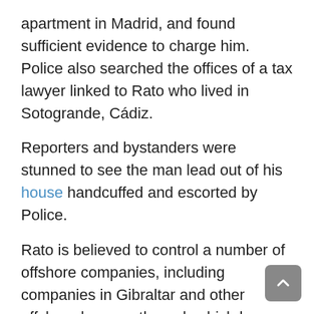apartment in Madrid, and found sufficient evidence to charge him. Police also searched the offices of a tax lawyer linked to Rato who lived in Sotogrande, Cádiz.
Reporters and bystanders were stunned to see the man lead out of his house handcuffed and escorted by Police.
Rato is believed to control a number of offshore companies, including companies in Gibraltar and other offshore havens, through which he funnelled hundreds of millions of euros which belonged not just to him but to other senior bankers and politicians throughout Spain.
He is also being investigated for having inflated the shares of Bankia, causing small investors to lose millions, and the case of "black credit cards", unlimited credit cards coming straight out of bank accounts